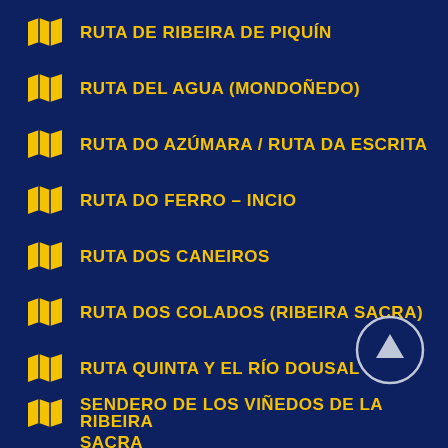RUTA DE RIBEIRA DE PIQUÍN
RUTA DEL AGUA (MONDOÑEDO)
RUTA DO AZÚMARA / RUTA DA ESCRITA
RUTA DO FERRO – INCIO
RUTA DOS CANEIROS
RUTA DOS COLADOS (RIBEIRA SACRA)
RUTA QUINTA Y EL RÍO DOUSAL
SENDERO DE LOS VIÑEDOS DE LA RIBEIRA SACRA